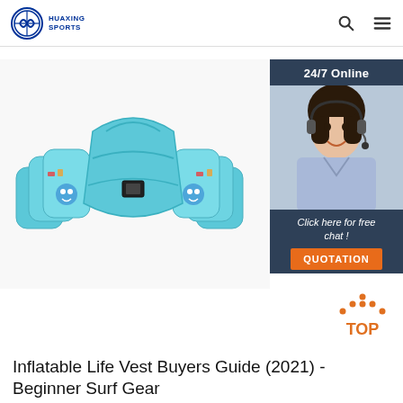HUAXING SPORTS
[Figure (photo): Blue inflatable children's swim float vest / puddle jumper with cartoon character print, shown on white background]
[Figure (photo): 24/7 Online customer service widget showing a smiling woman with headset, dark blue background, with 'Click here for free chat!' text and orange QUOTATION button]
[Figure (infographic): Orange 'TOP' back-to-top button with arrow dots above it]
Inflatable Life Vest Buyers Guide (2021) - Beginner Surf Gear